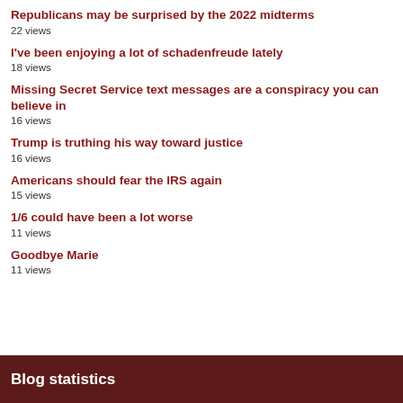Republicans may be surprised by the 2022 midterms
22 views
I've been enjoying a lot of schadenfreude lately
18 views
Missing Secret Service text messages are a conspiracy you can believe in
16 views
Trump is truthing his way toward justice
16 views
Americans should fear the IRS again
15 views
1/6 could have been a lot worse
11 views
Goodbye Marie
11 views
Blog statistics